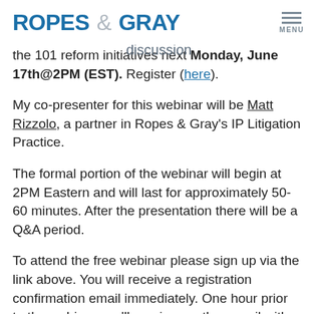ROPES & GRAY
…interactive webinar discussion… the 101 reform initiatives next Monday, June 17th@2PM (EST). Register (here).
My co-presenter for this webinar will be Matt Rizzolo, a partner in Ropes & Gray's IP Litigation Practice.
The formal portion of the webinar will begin at 2PM Eastern and will last for approximately 50-60 minutes. After the presentation there will be a Q&A period.
To attend the free webinar please sign up via the link above. You will receive a registration confirmation email immediately. One hour prior to the webinar you'll receive another email with a link and instructions for joining the presentation. CLE credit will be provided (CA…